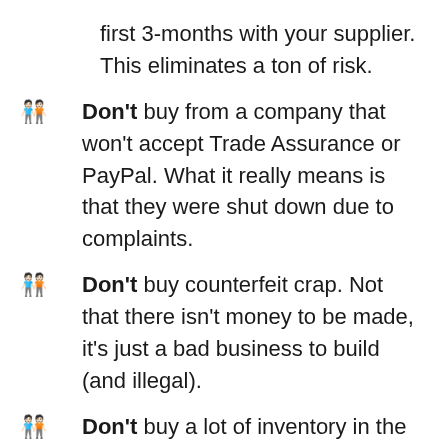first 3-months with your supplier. This eliminates a ton of risk.
Don't buy from a company that won't accept Trade Assurance or PayPal. What it really means is that they were shut down due to complaints.
Don't buy counterfeit crap. Not that there isn't money to be made, it's just a bad business to build (and illegal).
Don't buy a lot of inventory in the beginning. I started off buying 5-10